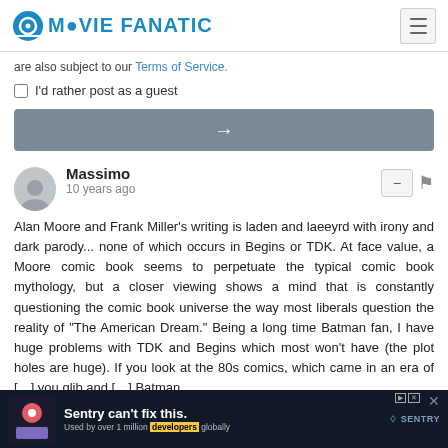MOVIE FANATIC
are also subject to our Terms of Service.
I'd rather post as a guest
[Figure (other): Submit button with right arrow]
Massimo
10 years ago
Alan Moore and Frank Miller's writing is laden and laeeyrd with irony and dark parody... none of which occurs in Begins or TDK. At face value, a Moore comic book seems to perpetuate the typical comic book mythology, but a closer viewing shows a mind that is constantly questioning the comic book universe the way most liberals question the reality of "The American Dream." Being a long time Batman fan, I have huge problems with TDK and Begins which most won't have (the plot holes are huge). If you look at the 80s comics, which came in an era of [...]  glib and [...] Batman,
[Figure (screenshot): Sentry advertisement banner at bottom of page]